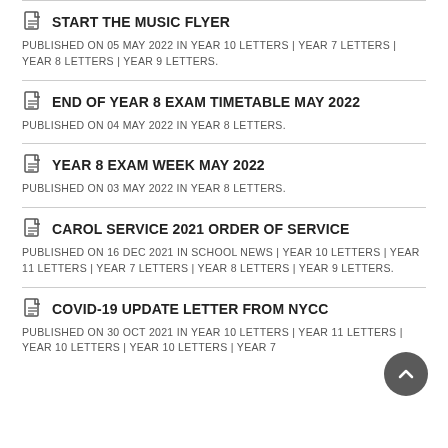START THE MUSIC FLYER
PUBLISHED ON 05 MAY 2022 IN YEAR 10 LETTERS | YEAR 7 LETTERS | YEAR 8 LETTERS | YEAR 9 LETTERS.
END OF YEAR 8 EXAM TIMETABLE MAY 2022
PUBLISHED ON 04 MAY 2022 IN YEAR 8 LETTERS.
YEAR 8 EXAM WEEK MAY 2022
PUBLISHED ON 03 MAY 2022 IN YEAR 8 LETTERS.
CAROL SERVICE 2021 ORDER OF SERVICE
PUBLISHED ON 16 DEC 2021 IN SCHOOL NEWS | YEAR 10 LETTERS | YEAR 11 LETTERS | YEAR 7 LETTERS | YEAR 8 LETTERS | YEAR 9 LETTERS.
COVID-19 UPDATE LETTER FROM NYCC
PUBLISHED ON 30 OCT 2021 IN YEAR 10 LETTERS | YEAR 11 LETTERS | YEAR 10 LETTERS | YEAR 10 LETTERS | YEAR 7